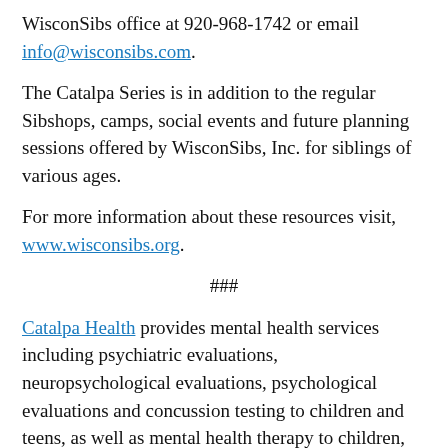WisconSibs office at 920-968-1742 or email info@wisconsibs.com.
The Catalpa Series is in addition to the regular Sibshops, camps, social events and future planning sessions offered by WisconSibs, Inc. for siblings of various ages.
For more information about these resources visit, www.wisconsibs.org.
###
Catalpa Health provides mental health services including psychiatric evaluations, neuropsychological evaluations, psychological evaluations and concussion testing to children and teens, as well as mental health therapy to children, teens and families throughout the Fox Valley, Oshkosh and Waupaca. A collaboration of Affinity Health System, Children's Hospital of Wisconsin and ThedaCare, Catalpa Health believes in community partnerships and works with other mental health providers to ensure that all